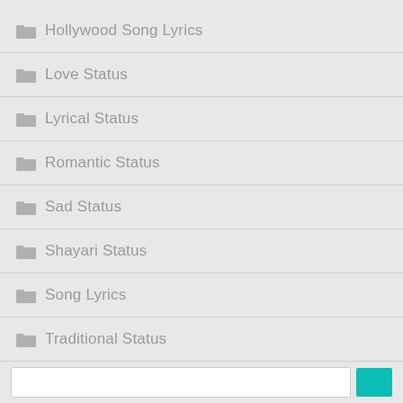Hollywood Song Lyrics
Love Status
Lyrical Status
Romantic Status
Sad Status
Shayari Status
Song Lyrics
Traditional Status